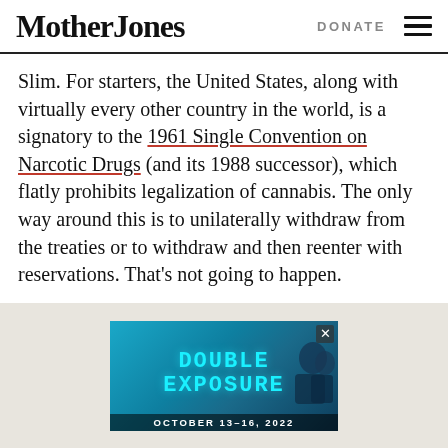Mother Jones | DONATE
Slim. For starters, the United States, along with virtually every other country in the world, is a signatory to the 1961 Single Convention on Narcotic Drugs (and its 1988 successor), which flatly prohibits legalization of cannabis. The only way around this is to unilaterally withdraw from the treaties or to withdraw and then reenter with reservations. That’s not going to happen.
[Figure (screenshot): Advertisement banner for 'Double Exposure' event, October 13-16, 2022. Cyan text on dark blue background with silhouettes of people.]